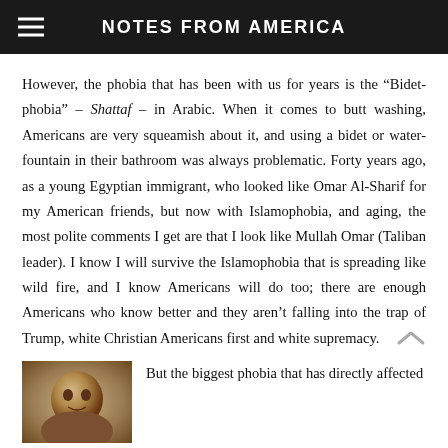NOTES FROM AMERICA
However, the phobia that has been with us for years is the “Bidet-phobia” – Shattaf – in Arabic. When it comes to butt washing, Americans are very squeamish about it, and using a bidet or water-fountain in their bathroom was always problematic. Forty years ago, as a young Egyptian immigrant, who looked like Omar Al-Sharif for my American friends, but now with Islamophobia, and aging, the most polite comments I get are that I look like Mullah Omar (Taliban leader). I know I will survive the Islamophobia that is spreading like wild fire, and I know Americans will do too; there are enough Americans who know better and they aren’t falling into the trap of Trump, white Christian Americans first and white supremacy.
[Figure (photo): A small photo showing a person or hands, brownish tones]
But the biggest phobia that has directly affected